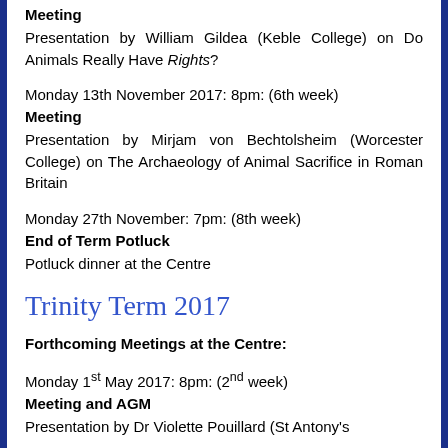Meeting
Presentation by William Gildea (Keble College) on Do Animals Really Have Rights?
Monday 13th November 2017: 8pm: (6th week)
Meeting
Presentation by Mirjam von Bechtolsheim (Worcester College) on The Archaeology of Animal Sacrifice in Roman Britain
Monday 27th November: 7pm: (8th week)
End of Term Potluck
Potluck dinner at the Centre
Trinity Term 2017
Forthcoming Meetings at the Centre:
Monday 1st May 2017: 8pm: (2nd week)
Meeting and AGM
Presentation by Dr Violette Pouillard (St Antony's